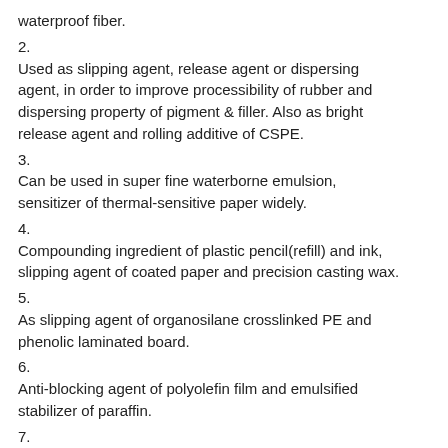waterproof fiber.
2. Used as slipping agent, release agent or dispersing agent, in order to improve processibility of rubber and dispersing property of pigment & filler. Also as bright release agent and rolling additive of CSPE.
3. Can be used in super fine waterborne emulsion, sensitizer of thermal-sensitive paper widely.
4. Compounding ingredient of plastic pencil(refill) and ink, slipping agent of coated paper and precision casting wax.
5. As slipping agent of organosilane crosslinked PE and phenolic laminated board.
6. Anti-blocking agent of polyolefin film and emulsified stabilizer of paraffin.
7. It is a slipping agent and surface brightness agent of rigid PVC rolling film, good synergistic effect with organic tin stabilizer, and can improve dispersing agent and electrical insulating property of pigment, slipping agent and anti-blocking agent when PVC sheet and pipe was extrusion or injection molding.